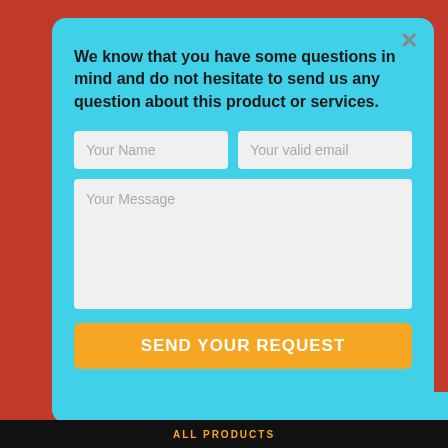We know that you have some questions in mind and do not hesitate to send us any question about this product or services.
[Figure (screenshot): Contact form modal with fields: Your Name, Your valid email, Your Message textarea, and a SEND YOUR REQUEST orange button, on a cyan/teal background.]